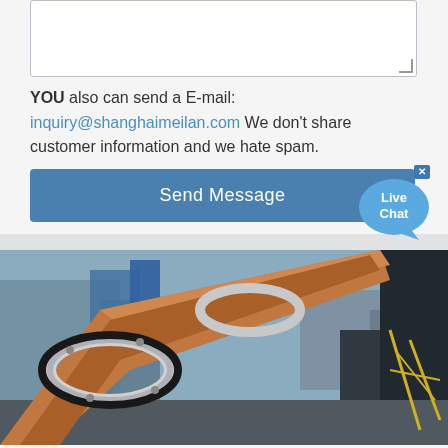[Figure (other): Textarea input box (partially visible at top of page) for entering inquiry details about capacity, products required, application and location.]
YOU also can send a E-mail: inquiry@shanghaimeilan.com We don't share customer information and we hate spam.
[Figure (other): Blue 'Send Message' button with 'Live Chat' speech bubble widget in the bottom-right corner with a close X button.]
[Figure (photo): Industrial photo showing a large rotary kiln or drum equipment at an industrial facility, with orange/rust-colored cylindrical body and metal rings/tyres, taken from close-up angle against a background of factory buildings and blue sky.]